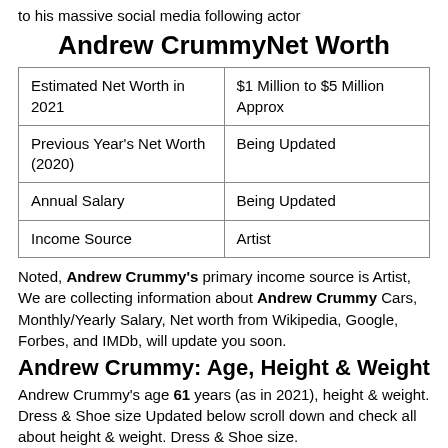to his massive social media following actor
Andrew CrummyNet Worth
| Estimated Net Worth in 2021 | $1 Million to $5 Million Approx |
| Previous Year's Net Worth (2020) | Being Updated |
| Annual Salary | Being Updated |
| Income Source | Artist |
Noted, Andrew Crummy's primary income source is Artist, We are collecting information about Andrew Crummy Cars, Monthly/Yearly Salary, Net worth from Wikipedia, Google, Forbes, and IMDb, will update you soon.
Andrew Crummy: Age, Height & Weight
Andrew Crummy's age 61 years (as in 2021), height & weight. Dress & Shoe size Updated below scroll down and check all about height & weight. Dress & Shoe size.
Andrew Social Media Activities